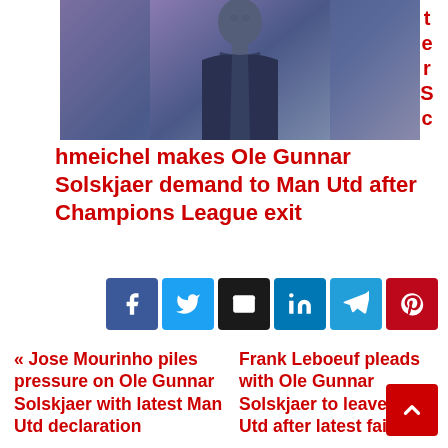[Figure (photo): Man in dark blazer against purple/blue background, cropped at top of page]
hmeichel makes Ole Gunnar Solskjaer demand to Man Utd after Champions League exit
[Figure (infographic): Social sharing buttons: Facebook, Twitter, Email, LinkedIn, Telegram, Pinterest]
« Jose Mourinho piles pressure on Ole Gunnar Solskjaer with latest Man Utd declaration
Frank Leboeuf pleads with Ole Gunnar Solskjaer to leave Man Utd after latest failure »